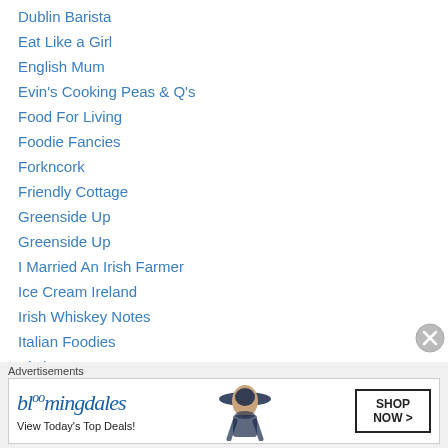Dublin Barista
Eat Like a Girl
English Mum
Evin's Cooking Peas & Q's
Food For Living
Foodie Fancies
Forkncork
Friendly Cottage
Greenside Up
Greenside Up
I Married An Irish Farmer
Ice Cream Ireland
Irish Whiskey Notes
Italian Foodies
Kitchen72
Like Mam Used to Bake
Lola Lu's Kitchen
Advertisements
[Figure (other): Bloomingdale's advertisement banner: 'View Today's Top Deals!' with SHOP NOW button and woman in hat image]